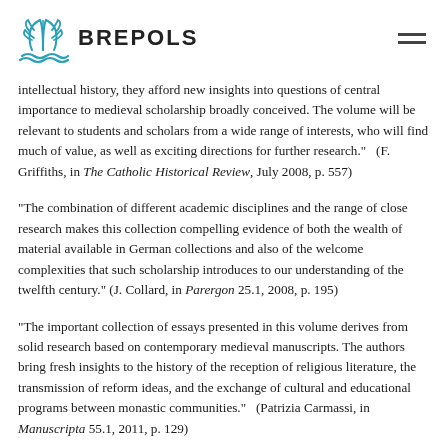BREPOLS
intellectual history, they afford new insights into questions of central importance to medieval scholarship broadly conceived. The volume will be relevant to students and scholars from a wide range of interests, who will find much of value, as well as exciting directions for further research."   (F. Griffiths, in The Catholic Historical Review, July 2008, p. 557)
"The combination of different academic disciplines and the range of close research makes this collection compelling evidence of both the wealth of material available in German collections and also of the welcome complexities that such scholarship introduces to our understanding of the twelfth century." (J. Collard, in Parergon 25.1, 2008, p. 195)
"The important collection of essays presented in this volume derives from solid research based on contemporary medieval manuscripts. The authors bring fresh insights to the history of the reception of religious literature, the transmission of reform ideas, and the exchange of cultural and educational programs between monastic communities."   (Patrizia Carmassi, in Manuscripta 55.1, 2011, p. 129)